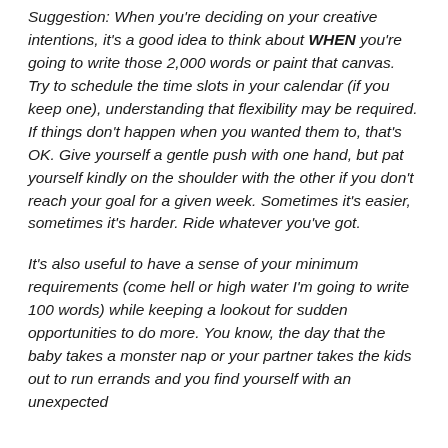Suggestion: When you're deciding on your creative intentions, it's a good idea to think about WHEN you're going to write those 2,000 words or paint that canvas. Try to schedule the time slots in your calendar (if you keep one), understanding that flexibility may be required. If things don't happen when you wanted them to, that's OK. Give yourself a gentle push with one hand, but pat yourself kindly on the shoulder with the other if you don't reach your goal for a given week. Sometimes it's easier, sometimes it's harder. Ride whatever you've got.
It's also useful to have a sense of your minimum requirements (come hell or high water I'm going to write 100 words) while keeping a lookout for sudden opportunities to do more. You know, the day that the baby takes a monster nap or your partner takes the kids out to run errands and you find yourself with an unexpected